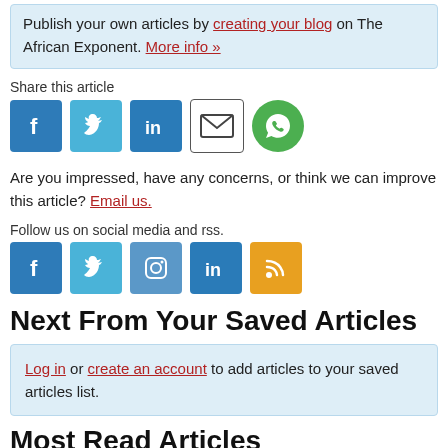Publish your own articles by creating your blog on The African Exponent. More info »
Share this article
[Figure (infographic): Row of social share icons: Facebook (blue square), Twitter (blue square), LinkedIn (blue square), Email (envelope outline), WhatsApp (green circle)]
Are you impressed, have any concerns, or think we can improve this article? Email us.
Follow us on social media and rss.
[Figure (infographic): Row of social media icons: Facebook (blue square), Twitter (blue square), Instagram (blue square), LinkedIn (blue square), RSS (orange square)]
Next From Your Saved Articles
Log in or create an account to add articles to your saved articles list.
Most Read Articles